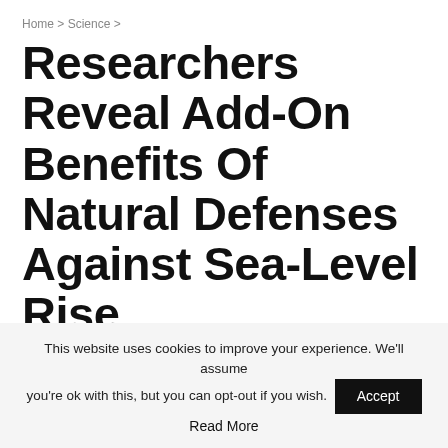Home > Science >
Researchers Reveal Add-On Benefits Of Natural Defenses Against Sea-Level Rise
By Jacky — On Jun 9, 2022  SCIENCE
[Figure (other): Social sharing buttons row: white, dark blue, light blue, orange, green, dark red, dark gray]
This website uses cookies to improve your experience. We'll assume you're ok with this, but you can opt-out if you wish.  Accept  Read More